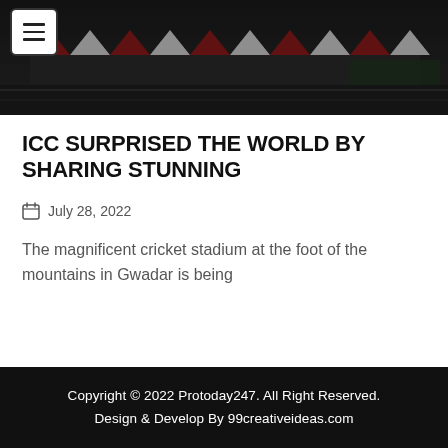[Figure (photo): Aerial view of a cricket stadium with red and white roof structure, roads and green areas visible around it. Dark/moody lighting.]
ICC SURPRISED THE WORLD BY SHARING STUNNING
July 28, 2022
The magnificent cricket stadium at the foot of the mountains in Gwadar is being
Copyright © 2022 Protoday247. All Right Reserved.
Design & Develop By 99creativeideas.com